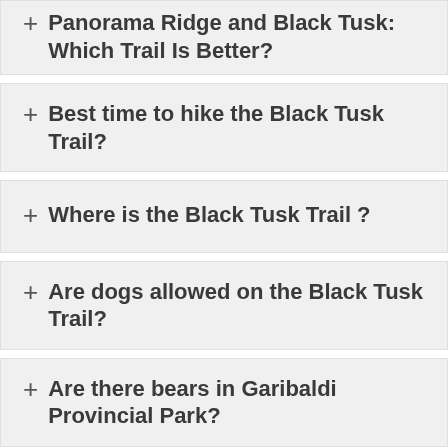+ Panorama Ridge and Black Tusk: Which Trail Is Better?
+ Best time to hike the Black Tusk Trail?
+ Where is the Black Tusk Trail ?
+ Are dogs allowed on the Black Tusk Trail?
+ Are there bears in Garibaldi Provincial Park?
+ (partial, cut off)